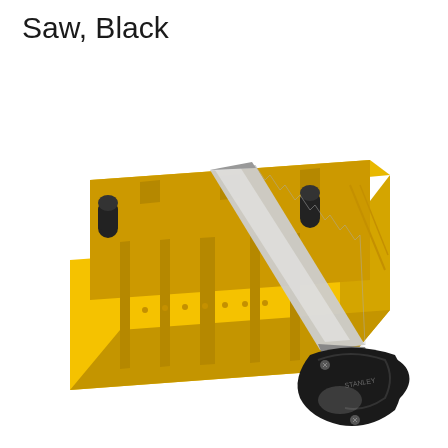Saw, Black
[Figure (photo): A yellow plastic mitre box with a hand saw featuring a black pistol-grip handle. The miter box has multiple angled slots for guiding cuts, and the metal saw blade is positioned diagonally through the center slot. The tool is photographed on a white background.]